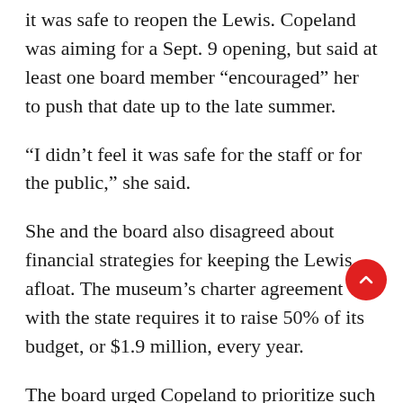it was safe to reopen the Lewis. Copeland was aiming for a Sept. 9 opening, but said at least one board member “encouraged” her to push that date up to the late summer.
“I didn’t feel it was safe for the staff or for the public,” she said.
She and the board also disagreed about financial strategies for keeping the Lewis afloat. The museum’s charter agreement with the state requires it to raise 50% of its budget, or $1.9 million, every year.
The board urged Copeland to prioritize such traditional fundraising tools as the annual gala.